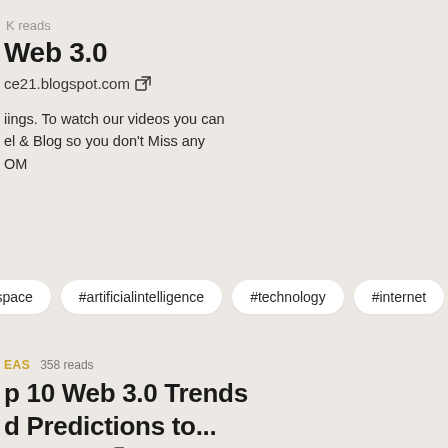K reads
Web 3.0
ce21.blogspot.com
iings. To watch our videos you can
el & Blog so you don't Miss any
OM
#kingspace
#artificialintelligence
#technology
#internet
EAS   358 reads
p 10 Web 3.0 Trends
d Predictions to...
ationis insight.net